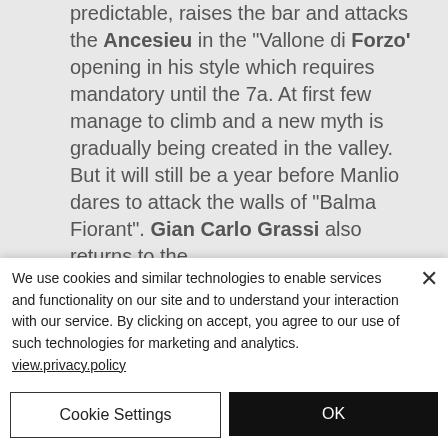predictable, raises the bar and attacks the Ancesieu in the "Vallone di Forzo" opening in his style which requires mandatory until the 7a. At first few manage to climb and a new myth is gradually being created in the valley. But it will still be a year before Manlio dares to attack the walls of "Balma Fiorant". Gian Carlo Grassi also returns to the...
We use cookies and similar technologies to enable services and functionality on our site and to understand your interaction with our service. By clicking on accept, you agree to our use of such technologies for marketing and analytics. view.privacy.policy
Cookie Settings
OK